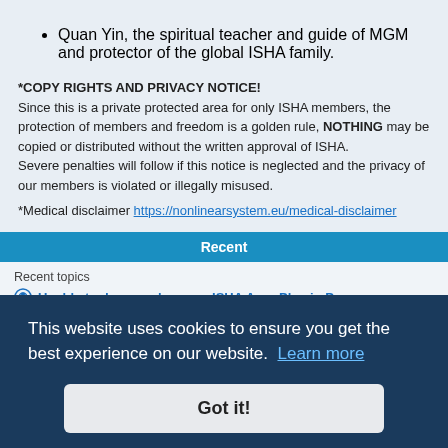Quan Yin, the spiritual teacher and guide of MGM and protector of the global ISHA family.
*COPY RIGHTS AND PRIVACY NOTICE!
Since this is a private protected area for only ISHA members, the protection of members and freedom is a golden rule, NOTHING may be copied or distributed without the written approval of ISHA.
Severe penalties will follow if this notice is neglected and the privacy of our members is violated or illegally misused.
*Medical disclaimer https://nonlinearsystem.eu/medical-disclaimer
Recent
Recent topics
Unable to depower bugs on ISHA Aura Physio Pro
This website uses cookies to ensure you get the best experience on our website. Learn more
Got it!
Login problems? Try this